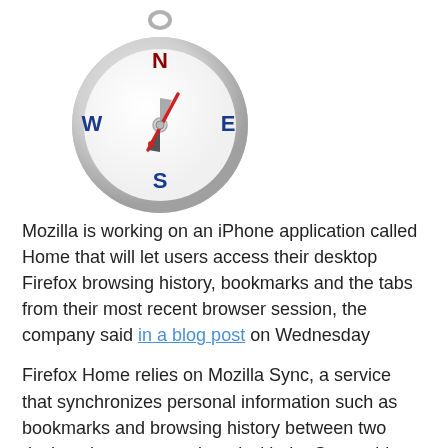[Figure (illustration): A compass icon showing N (red), S (blue), E (blue), W (blue) cardinal directions with a silver metallic rim and needle pointing northeast.]
Mozilla is working on an iPhone application called Home that will let users access their desktop Firefox browsing history, bookmarks and the tabs from their most recent browser session, the company said in a blog post on Wednesday
Firefox Home relies on Mozilla Sync, a service that synchronizes personal information such as bookmarks and browsing history between two desktop browsers equipped with the Sync add-on. By installing Firefox Home on their iPhone, Sync